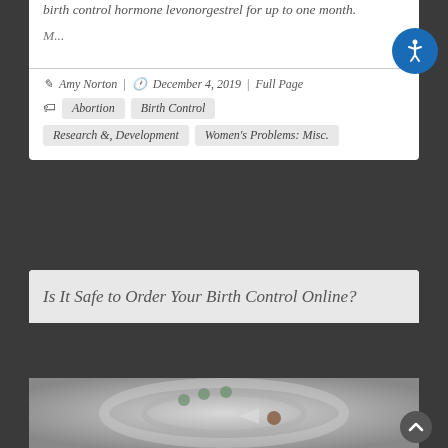birth control hormone levonorgestrel for up to one month.
M...
Amy Norton  |  December 4, 2019  |  Full Page
Abortion  Birth Control
Research &, Development  Women's Problems: Misc.
Is It Safe to Order Your Birth Control Online?
[Figure (photo): Close-up photo of a birth control pill dispenser/wheel, showing pills in a circular blister pack]